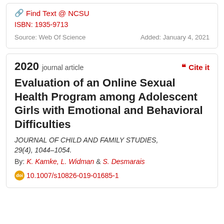Find Text @ NCSU
ISBN: 1935-9713
Source: Web Of Science    Added: January 4, 2021
2020 journal article
Cite it
Evaluation of an Online Sexual Health Program among Adolescent Girls with Emotional and Behavioral Difficulties
JOURNAL OF CHILD AND FAMILY STUDIES, 29(4), 1044–1054.
By: K. Kamke, L. Widman & S. Desmarais
10.1007/s10826-019-01685-1